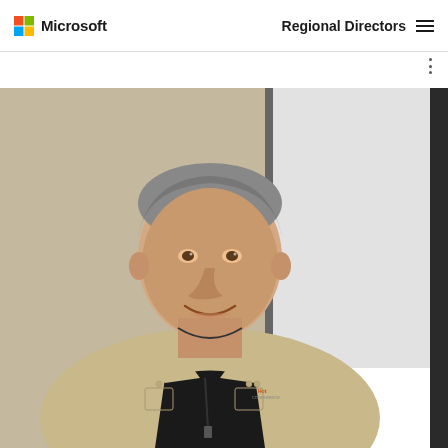Microsoft Regional Directors
[Figure (photo): A man with salt-and-pepper hair and a goatee, wearing a khaki short-sleeve button-up shirt with a conference logo embroidered on the chest, smiling, standing in front of a projection screen in a conference room setting.]